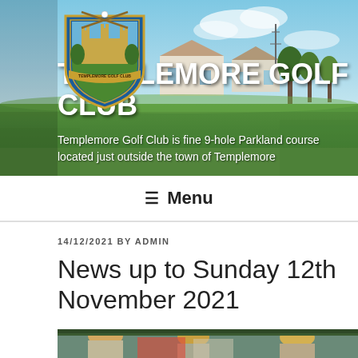[Figure (photo): Templemore Golf Club website header banner showing a golf course landscape with green grass, trees, houses, and blue sky. A shield logo for Templemore Golf Club is overlaid in the upper left area.]
TEMPLEMORE GOLF CLUB
Templemore Golf Club is fine 9-hole Parkland course located just outside the town of Templemore
☰ Menu
14/12/2021 BY ADMIN
News up to Sunday 12th November 2021
[Figure (photo): Partial view of a group of people standing outdoors in a car park area with trees in the background.]